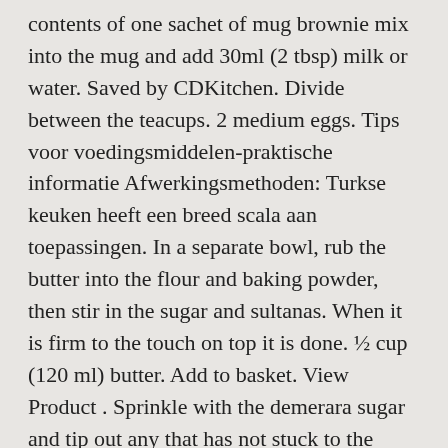contents of one sachet of mug brownie mix into the mug and add 30ml (2 tbsp) milk or water. Saved by CDKitchen. Divide between the teacups. 2 medium eggs. Tips voor voedingsmiddelen-praktische informatie Afwerkingsmethoden: Turkse keuken heeft een breed scala aan toepassingen. In a separate bowl, rub the butter into the flour and baking powder, then stir in the sugar and sultanas. When it is firm to the touch on top it is done. ½ cup (120 ml) butter. Add to basket. View Product . Sprinkle with the demerara sugar and tip out any that has not stuck to the basin. May 1, 2017 - Learn how to make my Microwave Sticky Toffee Pudding in a Mug for a delicious caramel cake, sticky toffee pudding recipe in